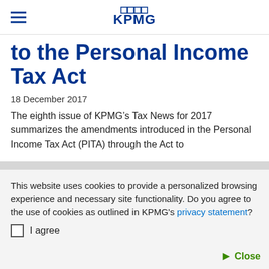KPMG
to the Personal Income Tax Act
18 December 2017
The eighth issue of KPMG’s Tax News for 2017 summarizes the amendments introduced in the Personal Income Tax Act (PITA) through the Act to
This website uses cookies to provide a personalized browsing experience and necessary site functionality. Do you agree to the use of cookies as outlined in KPMG’s privacy statement?
I agree
Close